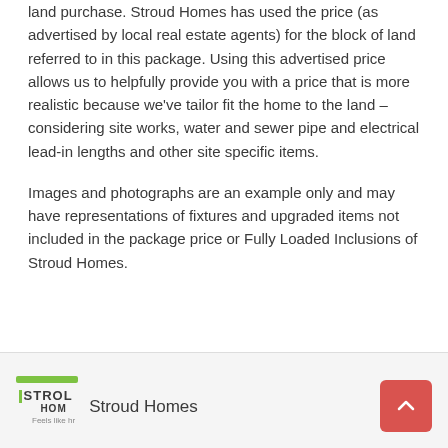land purchase. Stroud Homes has used the price (as advertised by local real estate agents) for the block of land referred to in this package. Using this advertised price allows us to helpfully provide you with a price that is more realistic because we've tailor fit the home to the land – considering site works, water and sewer pipe and electrical lead-in lengths and other site specific items.
Images and photographs are an example only and may have representations of fixtures and upgraded items not included in the package price or Fully Loaded Inclusions of Stroud Homes.
Stroud Homes